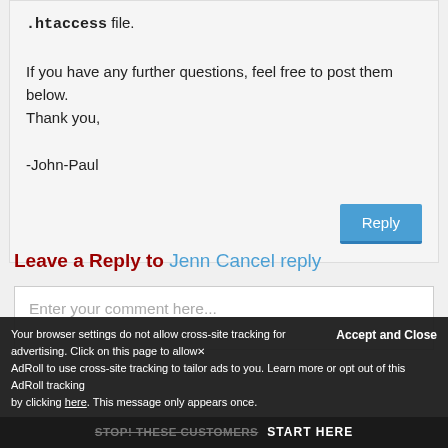.htaccess file.

If you have any further questions, feel free to post them below.
Thank you,

-John-Paul
Reply
Leave a Reply to Jenn Cancel reply
Enter your comment here...
Accept and Close
Your browser settings do not allow cross-site tracking for advertising. Click on this page to allow AdRoll to use cross-site tracking to tailor ads to you. Learn more or opt out of this AdRoll tracking by clicking here. This message only appears once.